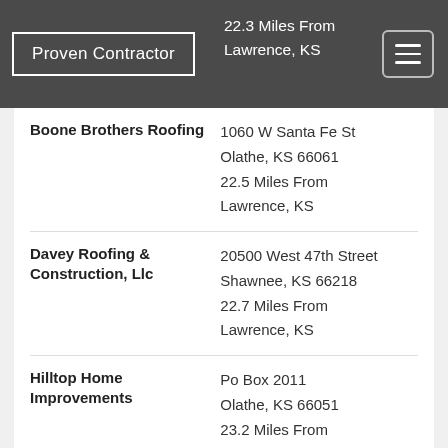Proven Contractor | 22.3 Miles From Lawrence, KS
Boone Brothers Roofing | 1060 W Santa Fe St, Olathe, KS 66061 | 22.5 Miles From Lawrence, KS
Davey Roofing & Construction, Llc | 20500 West 47th Street, Shawnee, KS 66218 | 22.7 Miles From Lawrence, KS
Hilltop Home Improvements | Po Box 2011, Olathe, KS 66051 | 23.2 Miles From Lawrence, KS